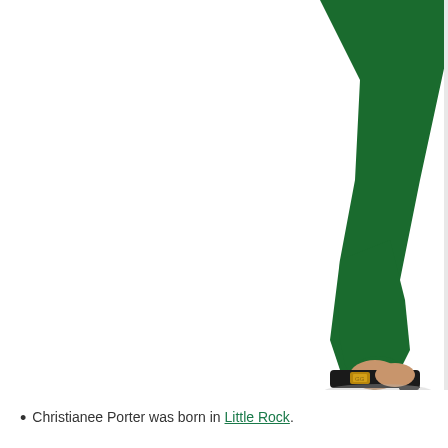[Figure (photo): Photo showing the lower body of a person wearing dark green tight leggings and black open-toe heeled sandals with gold buckle detail. The leg is raised showing the heel. White background with a slight shadow/reflection beneath the shoe.]
Christianee Porter was born in Little Rock.